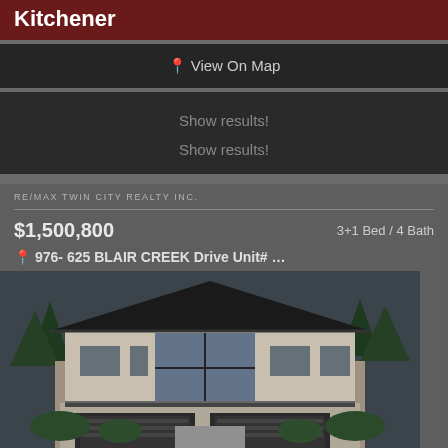Kitchener
📍 View On Map
Show results!
Show results!
RE/MAX TWIN CITY REALTY INC.
$1,500,800    3+1 Bed / 4 Bath
📍 976- 625 BLAIR CREEK Drive Unit# …
[Figure (photo): Exterior rendering of a modern two-storey house with large front windows, dark roof, and double garage, surrounded by trees]